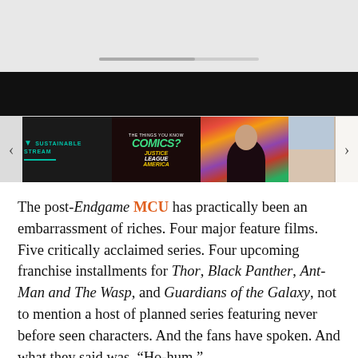[Figure (screenshot): Video player area with gray background and progress bar]
[Figure (screenshot): Horizontal thumbnail carousel with dark bar and four visible thumbnails: Sustainable Stream logo, Did You Know Comics/Justice League America, woman in front of floral background, two smaller images of people]
The post-Endgame MCU has practically been an embarrassment of riches. Four major feature films. Five critically acclaimed series. Four upcoming franchise installments for Thor, Black Panther, Ant-Man and The Wasp, and Guardians of the Galaxy, not to mention a host of planned series featuring never before seen characters. And the fans have spoken. And what they said was, “Ho-hum.”